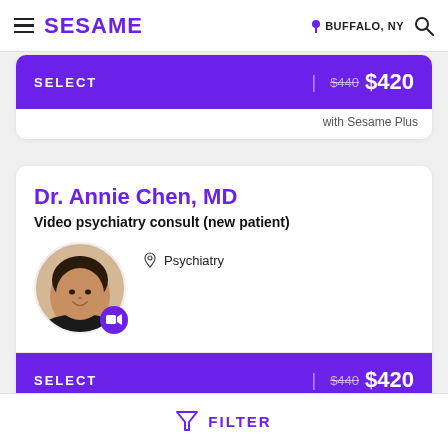SESAME | BUFFALO, NY
SELECT | $440 $420
with Sesame Plus
Dr. Annie Chen, MD
Video psychiatry consult (new patient)
[Figure (photo): Photo of Dr. Annie Chen, a woman with dark hair in a bun, smiling, with a video camera badge overlay]
Psychiatry
SELECT | $440 $420
FILTER